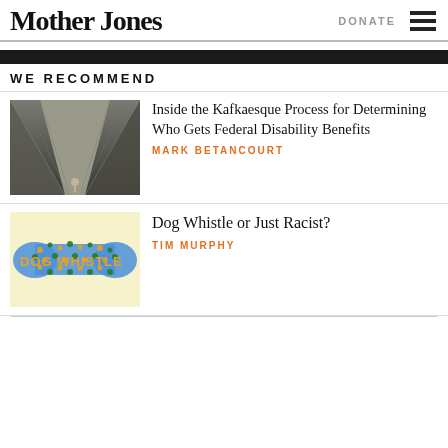Mother Jones
WE RECOMMEND
[Figure (photo): Person viewed from far above inside a tall concrete structure, looking up at converging angular walls]
Inside the Kafkaesque Process for Determining Who Gets Federal Disability Benefits
MARK BETANCOURT
[Figure (illustration): Book cover for Dog Whistle with a bone-shaped pattern of colorful dots on a light yellow background]
Dog Whistle or Just Racist?
TIM MURPHY